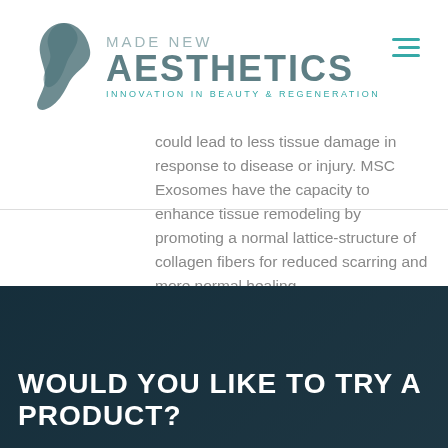MADE NEW AESTHETICS — INNOVATION IN BEAUTY & REGENERATION
could lead to less tissue damage in response to disease or injury. MSC Exosomes have the capacity to enhance tissue remodeling by promoting a normal lattice-structure of collagen fibers for reduced scarring and more normal healing.
WOULD YOU LIKE TO TRY A PRODUCT?